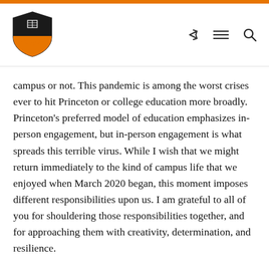[Figure (logo): Princeton University shield logo with orange and black colors]
campus or not. This pandemic is among the worst crises ever to hit Princeton or college education more broadly. Princeton’s preferred model of education emphasizes in-person engagement, but in-person engagement is what spreads this terrible virus. While I wish that we might return immediately to the kind of campus life that we enjoyed when March 2020 began, this moment imposes different responsibilities upon us. I am grateful to all of you for shouldering those responsibilities together, and for approaching them with creativity, determination, and resilience.
To our students, I look forward to having you back on our campus when you can come. To all of you, I look forward to collaborating with you and supporting you as we pursue our teaching and research mission energetically,